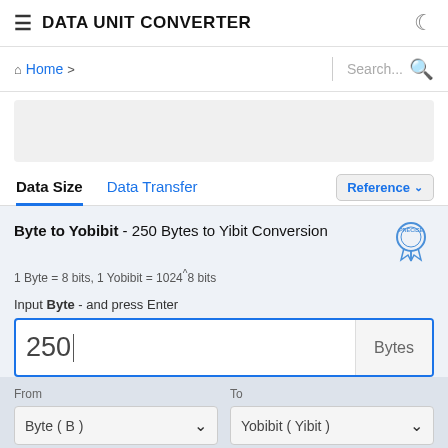DATA UNIT CONVERTER
Home >
[Figure (screenshot): Ad banner placeholder gray area]
Data Size  Data Transfer  Reference
Byte to Yobibit - 250 Bytes to Yibit Conversion
1 Byte = 8 bits, 1 Yobibit = 1024^8 bits
Input Byte - and press Enter
250 | Bytes
From: Byte ( B )   To: Yobibit ( Yibit )